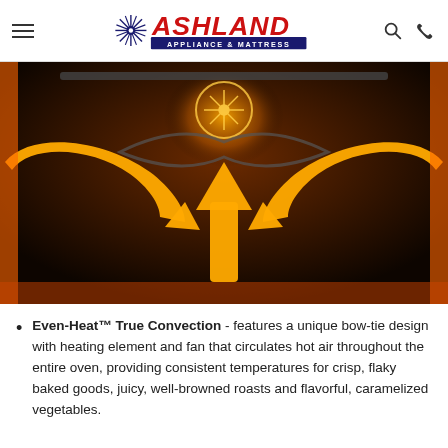Ashland Appliance & Mattress
[Figure (photo): Interior of an oven showing Even-Heat True Convection system with orange glowing arrows indicating hot air circulation patterns, fan visible at back center, bow-tie heating element design.]
Even-Heat™ True Convection - features a unique bow-tie design with heating element and fan that circulates hot air throughout the entire oven, providing consistent temperatures for crisp, flaky baked goods, juicy, well-browned roasts and flavorful, caramelized vegetables.